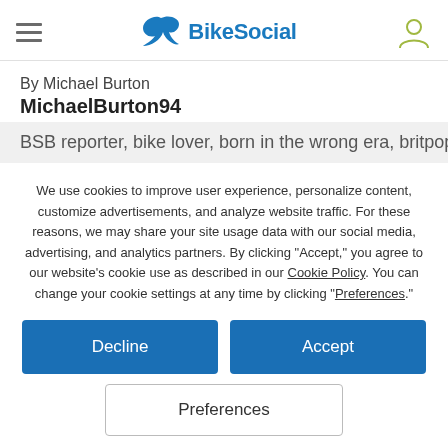BikeSocial
By Michael Burton
MichaelBurton94
BSB reporter, bike lover, born in the wrong era, britpop
We use cookies to improve user experience, personalize content, customize advertisements, and analyze website traffic. For these reasons, we may share your site usage data with our social media, advertising, and analytics partners. By clicking "Accept," you agree to our website's cookie use as described in our Cookie Policy. You can change your cookie settings at any time by clicking "Preferences."
Decline
Accept
Preferences